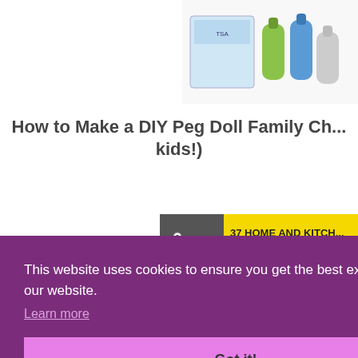[Figure (photo): Product image showing silicone travel bottles and a box, top right corner]
How to Make a DIY Peg Doll Family Ch... kids!)
[Figure (photo): Banner showing food items (hot dogs with eyes decoration) on yellow background with text '37 HOME AND KITCH... EVERYONE SHOULD O...']
This website uses cookies to ensure you get the best experience on our website.
Learn more
Got it!
CLOSE
[Figure (photo): Green Christmas tree or plant visible on the right side and bottom of page]